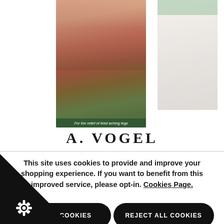[Figure (photo): Two product images of A. Vogel herbal products on white background. Left product shows flowers/botanicals with green label reading 'For the relief of tired aching legs'. Right product is partially visible with faded/white appearance.]
A. VOGEL
This site uses cookies to provide and improve your shopping experience. If you want to benefit from this improved service, please opt-in. Cookies Page.
ACCEPT COOKIES
REJECT ALL COOKIES
MANAGE PREFERENCES